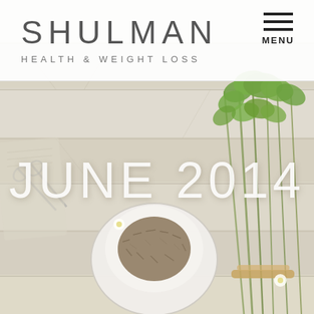[Figure (photo): Flat-lay photo of fresh herbs, dried seeds in a white bowl, and botanical elements arranged on a weathered white wooden surface. Green herb bundles tied with twine visible on right side, small white flowers scattered, rustic scissors on left.]
SHULMAN
HEALTH & WEIGHT LOSS
MENU
JUNE 2014